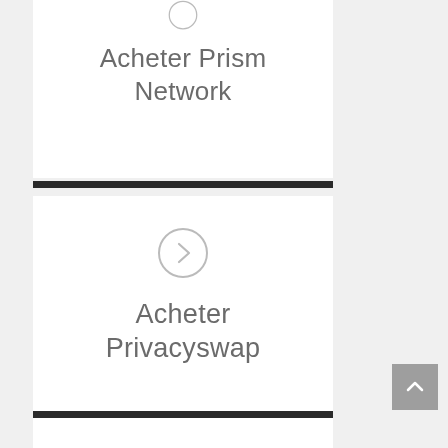[Figure (illustration): Card with circle icon (partially visible at top) and text 'Acheter Prism Network']
Acheter Prism Network
[Figure (illustration): Card with right-arrow circle icon and text 'Acheter Privacyswap']
Acheter Privacyswap
[Figure (illustration): Scroll-to-top button (grey square with up chevron)]